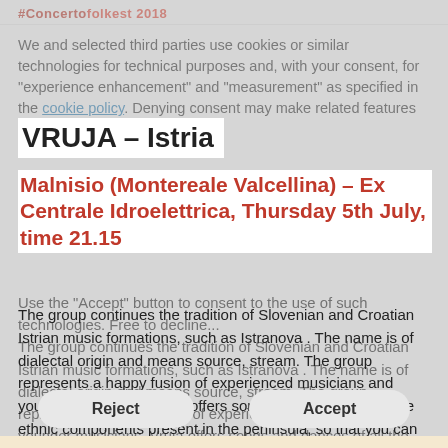#Concertoffolkest 2018
We and selected third parties use cookies or similar technologies for technical purposes and, with your consent, for "experience enhancement" and "measurement" as specified in the cookie policy. Denying consent may make related features unavailable.
VRUJA – Istria
Malnisio (Montereale Valcellina) – Ex Centrale Idroelettrica, Thursday 5th July, time 21.15
The group continues the tradition of Slovenian and Croatian Istrian music formations, such as Istranova . The name is of dialectal origin and means source, stream. The group represents a happy fusion of experienced musicians and younger musicians. Vruja offers songs and dances of all the ethnic components present in the peninsula, so that you can hear from the two-voiced singing typical of south-eastern Istria to the villagers , songs from the Romany communities of Dignano and Rovinj , the ballads in the northern Savoy where Slovenians live and finally songs and ballads in Istria . Interesting are the otiginali instruments that the group uses and features, such as the bajs (bassetto Istrian two-stringed), the mih (bagpipe Istrian), the grate (the table used by the
Reject
Accept
Learn more and customize